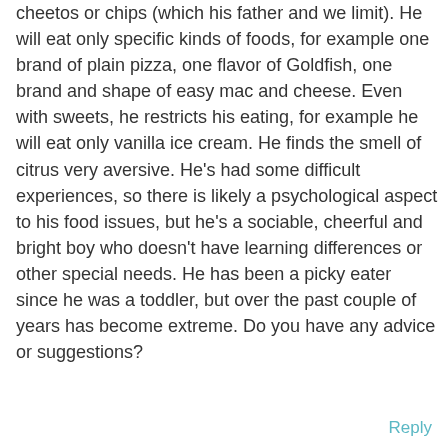cheetos or chips (which his father and we limit). He will eat only specific kinds of foods, for example one brand of plain pizza, one flavor of Goldfish, one brand and shape of easy mac and cheese. Even with sweets, he restricts his eating, for example he will eat only vanilla ice cream. He finds the smell of citrus very aversive. He's had some difficult experiences, so there is likely a psychological aspect to his food issues, but he's a sociable, cheerful and bright boy who doesn't have learning differences or other special needs. He has been a picky eater since he was a toddler, but over the past couple of years has become extreme. Do you have any advice or suggestions?
Reply